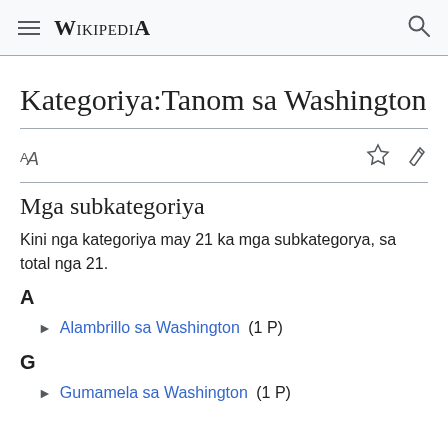≡  WIKIPEDIA  🔍
Kategoriya:Tanom sa Washington
Mga subkategoriya
Kini nga kategoriya may 21 ka mga subkategorya, sa total nga 21.
A
► Alambrillo sa Washington (1 P)
G
► Gumamela sa Washington (1 P)